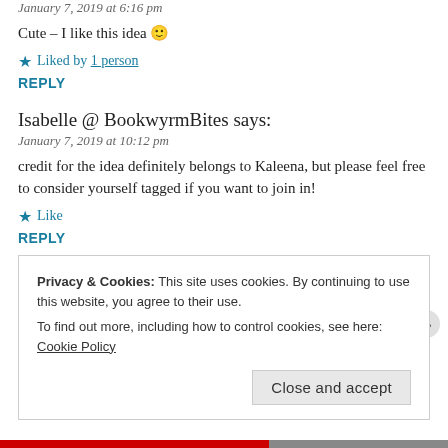January 7, 2019 at 6:16 pm
Cute – I like this idea 🙂
★ Liked by 1 person
REPLY
Isabelle @ BookwyrmBites says:
January 7, 2019 at 10:12 pm
credit for the idea definitely belongs to Kaleena, but please feel free to consider yourself tagged if you want to join in!
★ Like
REPLY
Privacy & Cookies: This site uses cookies. By continuing to use this website, you agree to their use.
To find out more, including how to control cookies, see here: Cookie Policy
Close and accept